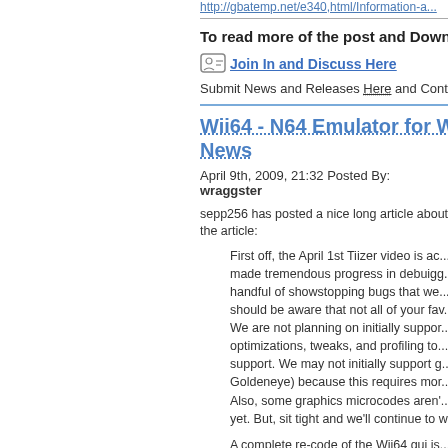http://... (truncated link at top)
To read more of the post and Download, cli...
Join In and Discuss Here
Submit News and Releases Here and Contact...
Wii64 - N64 Emulator for W... News
April 9th, 2009, 21:32 Posted By: wraggster
sepp256 has posted a nice long article about W... the article:
First off, the April 1st Tiizer video is ac... made tremendous progress in debuigg... handful of showstopping bugs that we... should be aware that not all of your fav... We are not planning on initially suppor... optimizations, tweaks, and profiling to... support. We may not initially support g... Goldeneye) because this requires mor... Also, some graphics microcodes aren'... yet. But, sit tight and we'll continue to w...
A complete re-code of the Wii64 gui is... also some sleek new graphics. We'll h... features to the gui over time for your e...
If you have watched any of the recent... increased substantially since the Wii6... with openGL, there was a lot of investi...